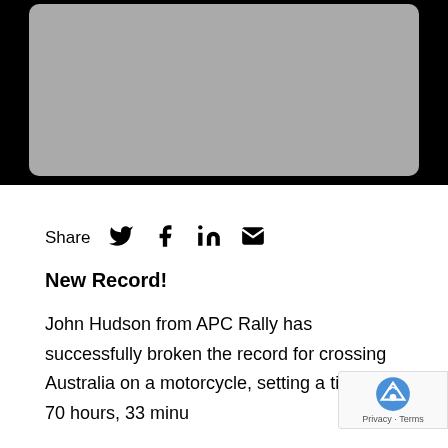[Figure (photo): Gray rectangular image placeholder with rounded corners on black background]
Share [Twitter] [Facebook] [LinkedIn] [Email]
New Record!
John Hudson from APC Rally has successfully broken the record for crossing Australia on a motorcycle, setting a time of 70 hours, 33 minu...